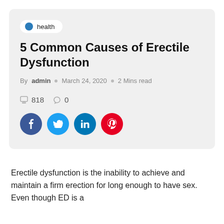health
5 Common Causes of Erectile Dysfunction
By admin  o  March 24, 2020  o  2 Mins read
818   0
[Figure (other): Social share buttons: Facebook, Twitter, LinkedIn, Pinterest]
Erectile dysfunction is the inability to achieve and maintain a firm erection for long enough to have sex. Even though ED is a